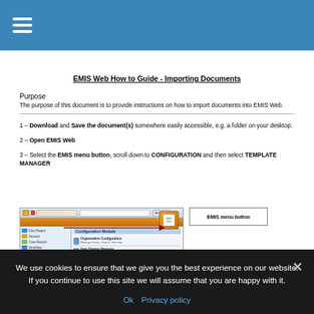EMIS Web How to Guide - Importing Documents
EMIS Web How to Guide - Importing Documents
Purpose
The purpose of this document is to provide instructions on how to import documents into EMIS Web.
1 – Download and Save the document(s) somewhere easily accessible, e.g. a folder on your desktop.
2 – Open EMIS Web
3 – Select the EMIS menu button, scroll down to CONFIGURATION and then select TEMPLATE MANAGER
[Figure (screenshot): Screenshot of EMIS Web interface showing Configuration Module menu with options including Organisation Configuration, Data Sharing Manager, Confidentiality Policy Manager, and Formulary Manager. An arrow points to the EMIS menu button in the top right.]
We use cookies to ensure that we give you the best experience on our website. If you continue to use this site we will assume that you are happy with it.
Ok  Privacy policy